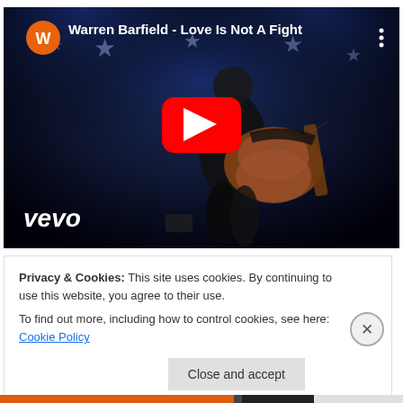[Figure (screenshot): YouTube video thumbnail for 'Warren Barfield - Love Is Not A Fight' on Vevo channel. Shows a man playing acoustic guitar on a dark stage with spotlights. Large red YouTube play button in center. Orange W channel icon and title in top-left. Three-dot menu top-right. Vevo logo in white bottom-left.]
Privacy & Cookies: This site uses cookies. By continuing to use this website, you agree to their use.
To find out more, including how to control cookies, see here: Cookie Policy